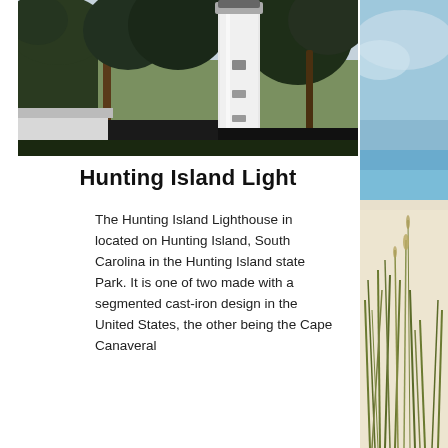[Figure (photo): Photograph of Hunting Island Lighthouse, a tall white cylindrical lighthouse tower visible above trees including palms and pines, with a small white building visible at the base. Overcast sky in the background.]
Hunting Island Light
The Hunting Island Lighthouse in located on Hunting Island, South Carolina in the Hunting Island state Park. It is one of two made with a segmented cast-iron design in the United States, the other being the Cape Canaveral
[Figure (photo): Partial photo on the right side showing a beach/coastal scene with sea grasses in the foreground on sandy ground, and a blue-green ocean and sky in the background.]